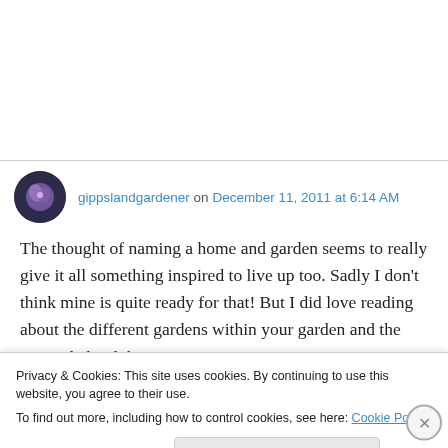gippslandgardener on December 11, 2011 at 6:14 AM
The thought of naming a home and garden seems to really give it all something inspired to live up too. Sadly I don't think mine is quite ready for that! But I did love reading about the different gardens within your garden and the stories behind their names.
Privacy & Cookies: This site uses cookies. By continuing to use this website, you agree to their use.
To find out more, including how to control cookies, see here: Cookie Policy
Close and accept